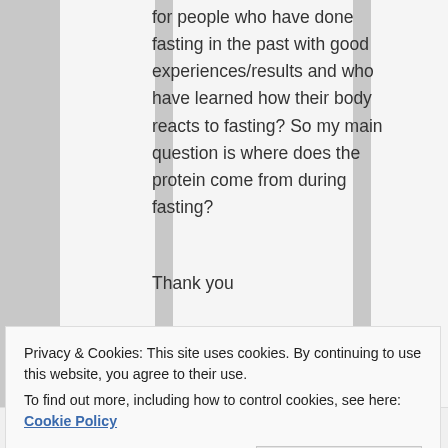for people who have done fasting in the past with good experiences/results and who have learned how their body reacts to fasting? So my main question is where does the protein come from during fasting?
Thank you
Privacy & Cookies: This site uses cookies. By continuing to use this website, you agree to their use.
To find out more, including how to control cookies, see here: Cookie Policy
Close and accept
on March 8,